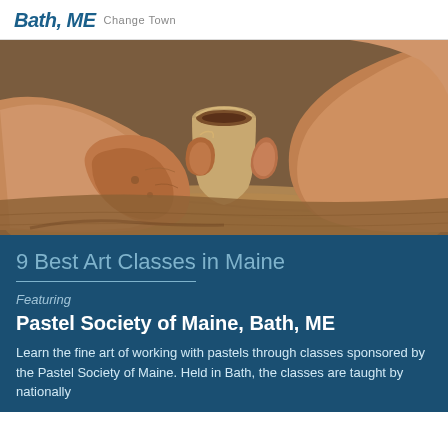Bath, ME Change Town
[Figure (photo): Close-up photo of clay-covered hands shaping a small pottery vessel on a spinning potter's wheel]
9 Best Art Classes in Maine
Featuring
Pastel Society of Maine, Bath, ME
Learn the fine art of working with pastels through classes sponsored by the Pastel Society of Maine. Held in Bath, the classes are taught by nationally